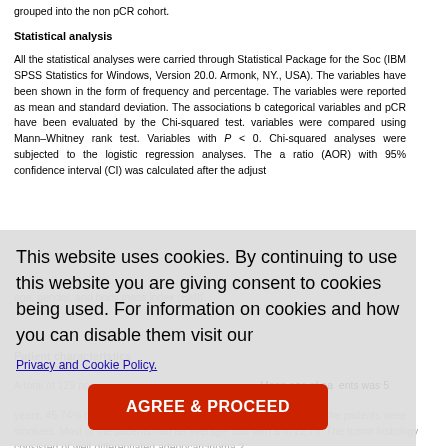grouped into the non pCR cohort.
Statistical analysis
All the statistical analyses were carried through Statistical Package for the Social Sciences (IBM SPSS Statistics for Windows, Version 20.0. Armonk, NY., USA). The categorical variables have been shown in the form of frequency and percentage. The continuous variables were reported as mean and standard deviation. The associations between categorical variables and pCR have been evaluated by the Chi-squared test. The continuous variables were compared using Mann–Whitney rank test. Variables with P < 0.05 from the Chi-squared analyses were subjected to the logistic regression analyses. The adjusted odds ratio (AOR) with 95% confidence interval (CI) was calculated after the adjustment for age, gender, and body mass index (BMI).
This website uses cookies. By continuing to use this website you are giving consent to cookies being used. For information on cookies and how you can disable them visit our
Privacy and Cookie Policy.
AGREE & PROCEED
Patient characteristics
A total of 129 patients were enrolled. Mean age of patients was 53 years. 45.74% of patients were males and remaining 54.26% were female. About the patients were smokers. Most of the patients had an average build with a mean BMI of 22.78. The tumor histology consisted of well-differentiated adenocarcinoma 2